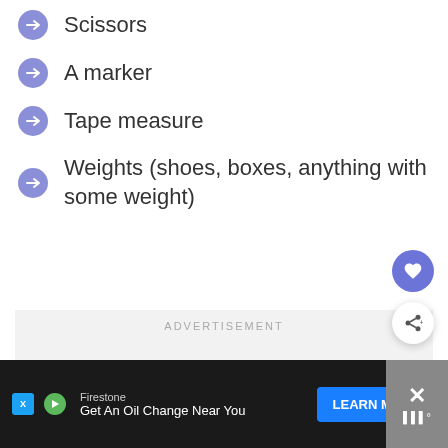Scissors
A marker
Tape measure
Weights (shoes, boxes, anything with some weight)
[Figure (screenshot): Advertisement placeholder area with grey background and ADVERTISEMENT label]
Firestone  Get An Oil Change Near You  LEARN MORE